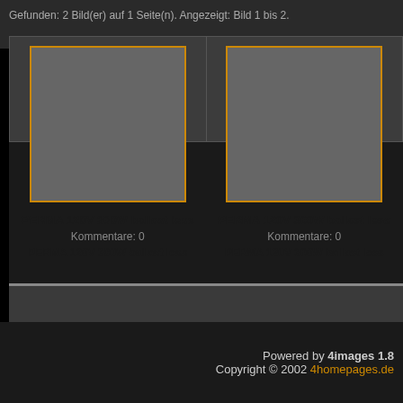Gefunden: 2 Bild(er) auf 1 Seite(n). Angezeigt: Bild 1 bis 2.
[Figure (screenshot): Gallery view showing two image placeholders with orange borders on grey background. Each has title 'PERMA 120V 300W ballast less', comments count 0, and subtitle 'PERMA 120V 300W ballast less']
Powered by 4images 1.8
Copyright © 2002 4homepages.de